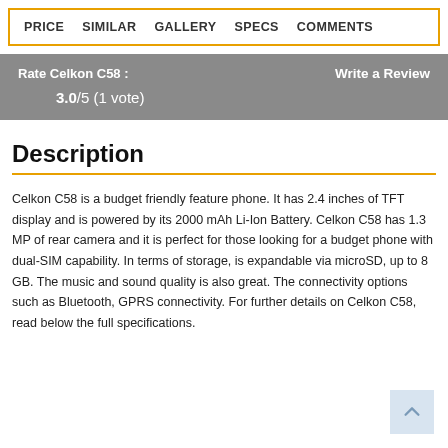PRICE  SIMILAR  GALLERY  SPECS  COMMENTS
Rate Celkon C58 :    Write a Review
3.0/5 (1 vote)
Description
Celkon C58 is a budget friendly feature phone. It has 2.4 inches of TFT display and is powered by its 2000 mAh Li-Ion Battery. Celkon C58 has 1.3 MP of rear camera and it is perfect for those looking for a budget phone with dual-SIM capability. In terms of storage, is expandable via microSD, up to 8 GB. The music and sound quality is also great. The connectivity options such as Bluetooth, GPRS connectivity. For further details on Celkon C58, read below the full specifications.